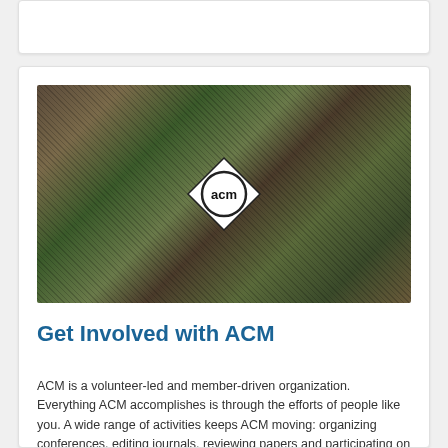[Figure (photo): Group of people sitting outdoors at a table with trees in background, ACM diamond logo overlaid in center]
Get Involved with ACM
ACM is a volunteer-led and member-driven organization. Everything ACM accomplishes is through the efforts of people like you. A wide range of activities keeps ACM moving: organizing conferences, editing journals, reviewing papers and participating on